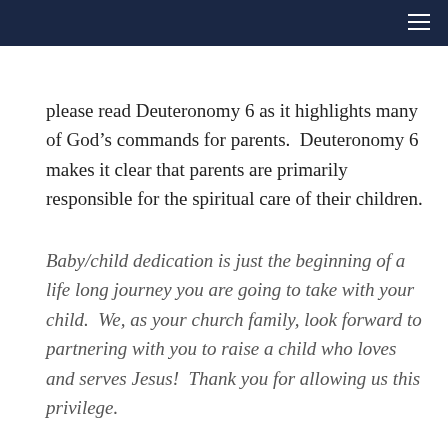please read Deuteronomy 6 as it highlights many of God’s commands for parents.  Deuteronomy 6 makes it clear that parents are primarily responsible for the spiritual care of their children.
Baby/child dedication is just the beginning of a life long journey you are going to take with your child.  We, as your church family, look forward to partnering with you to raise a child who loves and serves Jesus!  Thank you for allowing us this privilege.